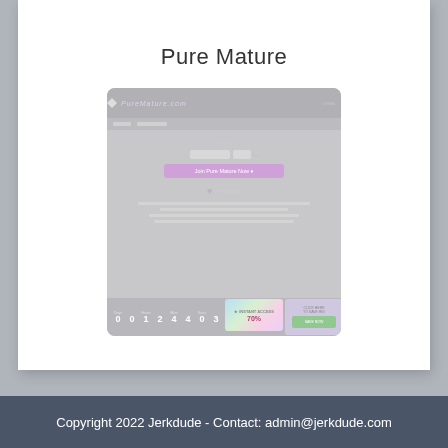Pure Mature
[Figure (screenshot): Screenshot of PureMature.com website showing a signup page with logo, navigation, form fields, a purple 'Join Pure Mature Now' button, a heart icon, and a bottom countdown/promo bar with numbers 0 0 1 2 4 4 0 3 and promotional badges showing 70%]
Copyright 2022 Jerkdude - Contact: admin@jerkdude.com